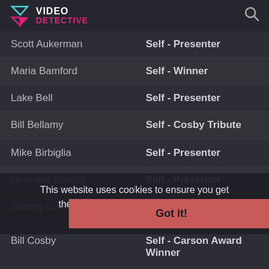VIDEO DETECTIVE
| Name | Role |
| --- | --- |
| Scott Aukerman | Self - Presenter |
| Maria Bamford | Self - Winner |
| Lake Bell | Self - Presenter |
| Bill Bellamy | Self - Cosby Tribute |
| Mike Birbiglia | Self - Presenter |
| Hannibal Buress | Self - Presenter |
| Johnny Carson | Self |
| Stephen Colbert | Self - Winner |
| Bill Cosby | Self - Carson Award Winner |
This website uses cookies to ensure you get the best experience on our website.
Learn more
Got it!